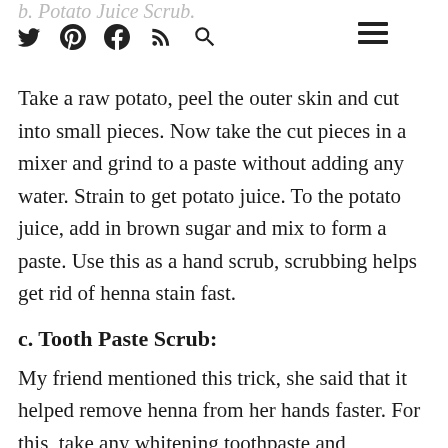b. Potato Juice Scrub.
Take a raw potato, peel the outer skin and cut into small pieces. Now take the cut pieces in a mixer and grind to a paste without adding any water. Strain to get potato juice. To the potato juice, add in brown sugar and mix to form a paste. Use this as a hand scrub, scrubbing helps get rid of henna stain fast.
c. Tooth Paste Scrub:
My friend mentioned this trick, she said that it helped remove henna from her hands faster. For this, take any whitening toothpaste and